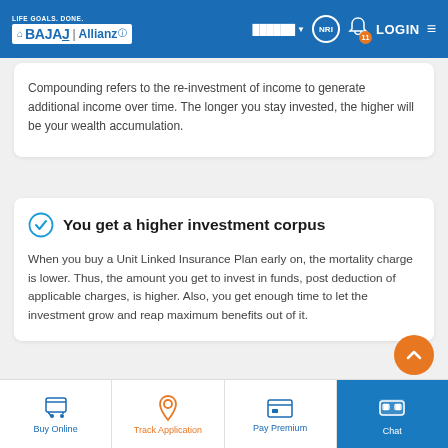LIFE GOALS. DONE. BAJAJ Allianz — NRI LOGIN
Compounding refers to the re-investment of income to generate additional income over time. The longer you stay invested, the higher will be your wealth accumulation.
You get a higher investment corpus
When you buy a Unit Linked Insurance Plan early on, the mortality charge is lower. Thus, the amount you get to invest in funds, post deduction of applicable charges, is higher. Also, you get enough time to let the investment grow and reap maximum benefits out of it.
Buy Online | Track Application | Pay Premium | Chat